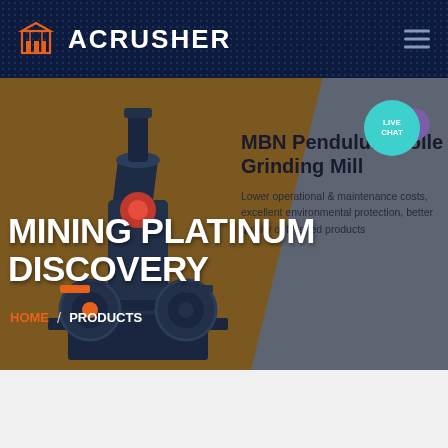ACRUSHER
MINING PLATINUM DISCOVERY
MBN Pendulum Roller Grinding Mill
Lower operational & maintenance costs, excellent environmental protection, better quality of finished products
HOME / PRODUCTS
[Figure (screenshot): ACRUSHER website screenshot showing mining equipment — a pendulum roller grinding mill on a brown/gray hero banner with MINING PLATINUM DISCOVERY headline, Live Chat button, and HOME / PRODUCTS breadcrumb navigation]